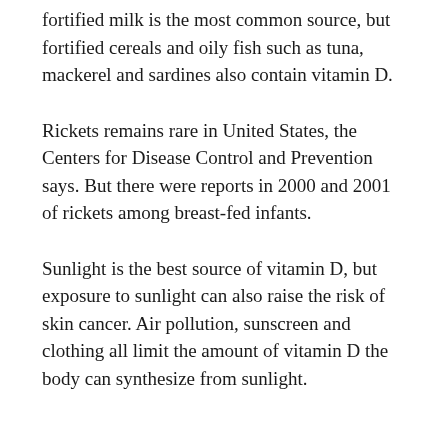fortified milk is the most common source, but fortified cereals and oily fish such as tuna, mackerel and sardines also contain vitamin D.
Rickets remains rare in United States, the Centers for Disease Control and Prevention says. But there were reports in 2000 and 2001 of rickets among breast-fed infants.
Sunlight is the best source of vitamin D, but exposure to sunlight can also raise the risk of skin cancer. Air pollution, sunscreen and clothing all limit the amount of vitamin D the body can synthesize from sunlight.